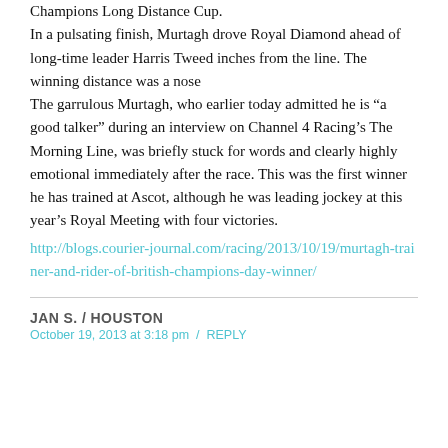Champions Long Distance Cup. In a pulsating finish, Murtagh drove Royal Diamond ahead of long-time leader Harris Tweed inches from the line. The winning distance was a nose The garrulous Murtagh, who earlier today admitted he is "a good talker" during an interview on Channel 4 Racing's The Morning Line, was briefly stuck for words and clearly highly emotional immediately after the race. This was the first winner he has trained at Ascot, although he was leading jockey at this year's Royal Meeting with four victories.
http://blogs.courier-journal.com/racing/2013/10/19/murtagh-trainer-and-rider-of-british-champions-day-winner/
JAN S. / HOUSTON
October 19, 2013 at 3:18 pm / REPLY